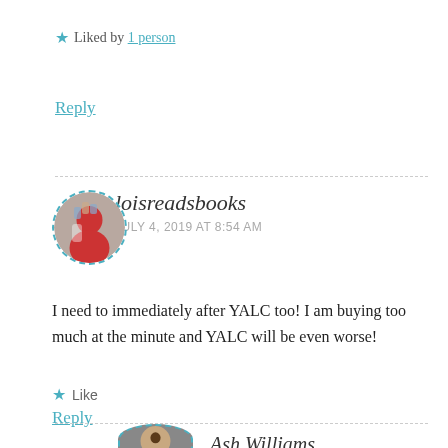★ Liked by 1 person
Reply
loisreadsbooks
JULY 4, 2019 AT 8:54 AM
I need to immediately after YALC too! I am buying too much at the minute and YALC will be even worse!
★ Like
Reply
Ash Williams